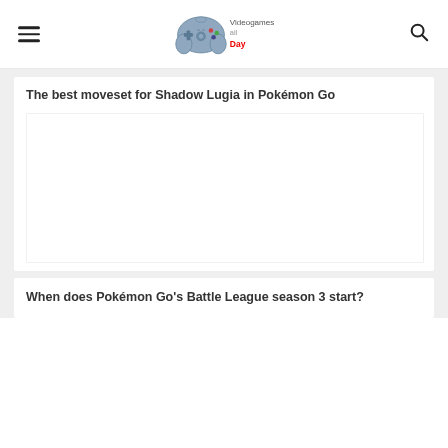Videogames all Day
The best moveset for Shadow Lugia in Pokémon Go
[Figure (illustration): Advertisement or image placeholder area within article card]
When does Pokémon Go's Battle League season 3 start?